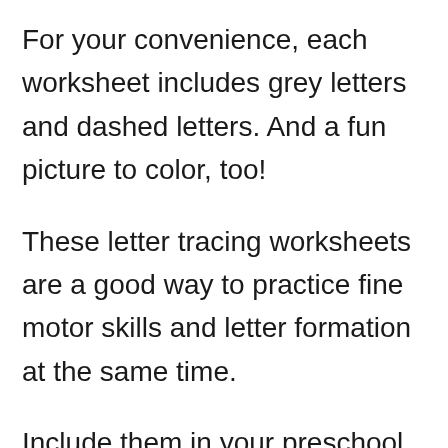For your convenience, each worksheet includes grey letters and dashed letters. And a fun picture to color, too!
These letter tracing worksheets are a good way to practice fine motor skills and letter formation at the same time.
Include them in your preschool or kindergarten curriculum or easily send them home with kids for school break